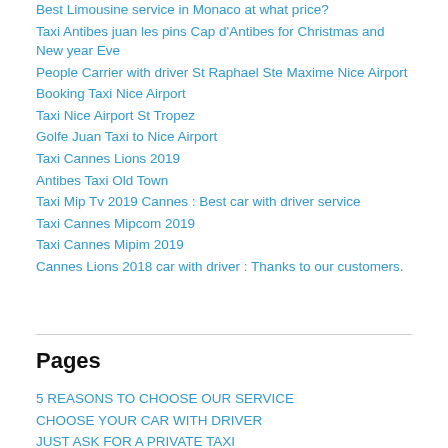Best Limousine service in Monaco at what price?
Taxi Antibes juan les pins Cap d'Antibes for Christmas and New year Eve
People Carrier with driver St Raphael Ste Maxime Nice Airport
Booking Taxi Nice Airport
Taxi Nice Airport St Tropez
Golfe Juan Taxi to Nice Airport
Taxi Cannes Lions 2019
Antibes Taxi Old Town
Taxi Mip Tv 2019 Cannes : Best car with driver service
Taxi Cannes Mipcom 2019
Taxi Cannes Mipim 2019
Cannes Lions 2018 car with driver : Thanks to our customers.
Pages
5 REASONS TO CHOOSE OUR SERVICE
CHOOSE YOUR CAR WITH DRIVER
JUST ASK FOR A PRIVATE TAXI